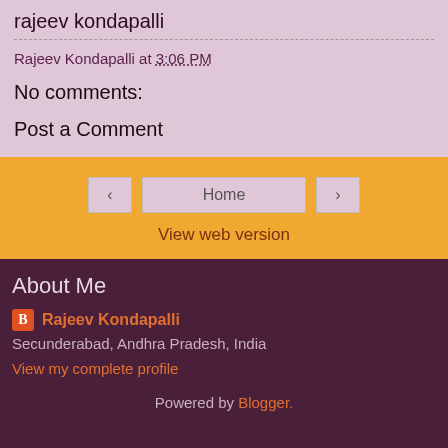rajeev kondapalli
Rajeev Kondapalli at 3:06 PM
No comments:
Post a Comment
< Home >
View web version
About Me
Rajeev Kondapalli
Secunderabad, Andhra Pradesh, India
View my complete profile
Powered by Blogger.